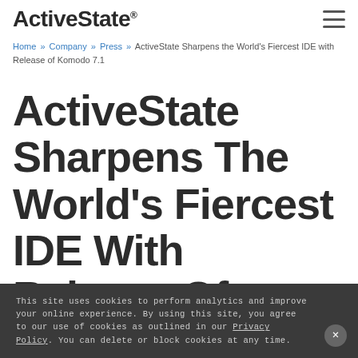ActiveState®
Home » Company » Press » ActiveState Sharpens the World's Fiercest IDE with Release of Komodo 7.1
ActiveState Sharpens The World's Fiercest IDE With Release Of Komodo 7.1
This site uses cookies to perform analytics and improve your online experience. By using this site, you agree to our use of cookies as outlined in our Privacy Policy. You can delete or block cookies at any time.